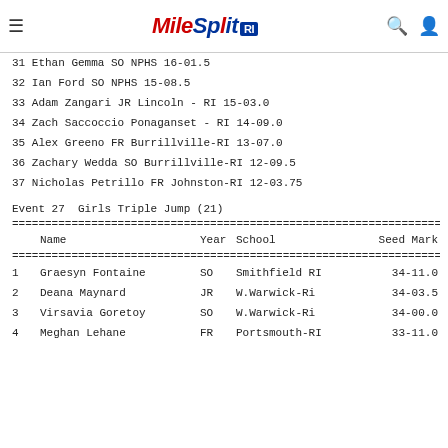MileSplit RI
31  Ethan Gemma          SO NPHS         16-01.50
32  Ian Ford             SO NPHS         15-08.50
33  Adam Zangari         JR Lincoln - RI 15-03.00
34  Zach Saccoccio          Ponaganset - RI 14-09.00
35  Alex Greeno          FR Burrillville-RI 13-07.00
36  Zachary Wedda        SO Burrillville-RI 12-09.50
37  Nicholas Petrillo   FR Johnston-RI  12-03.75
Event 27  Girls Triple Jump (21)
|  | Name | Year | School | Seed Mark |
| --- | --- | --- | --- | --- |
| 1 | Graesyn Fontaine | SO | Smithfield RI | 34-11.00 |
| 2 | Deana Maynard | JR | W.Warwick-Ri | 34-03.50 |
| 3 | Virsavia Goretoy | SO | W.Warwick-Ri | 34-00.00 |
| 4 | Meghan Lehane | FR | Portsmouth-RI | 33-11.00 |